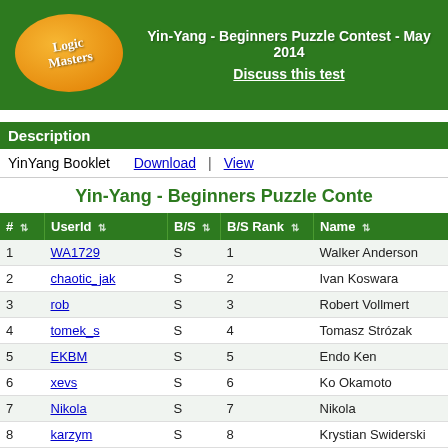Yin-Yang - Beginners Puzzle Contest - May 2014 | Discuss this test
Description
YinYang Booklet   Download  |  View
Yin-Yang - Beginners Puzzle Contest
| # | UserId | B/S | B/S Rank | Name |
| --- | --- | --- | --- | --- |
| 1 | WA1729 | S | 1 | Walker Anderson |
| 2 | chaotic_jak | S | 2 | Ivan Koswara |
| 3 | rob | S | 3 | Robert Vollmert |
| 4 | tomek_s | S | 4 | Tomasz Strózak |
| 5 | EKBM | S | 5 | Endo Ken |
| 6 | xevs | S | 6 | Ko Okamoto |
| 7 | Nikola | S | 7 | Nikola |
| 8 | karzym | S | 8 | Krystian Swiderski |
| 9 | jacoblance | S | 9 | Jack Lance |
| 10 | deu | S | 10 | Hideaki Jo |
| 11 | misko | S | 11 | Michael Lev |